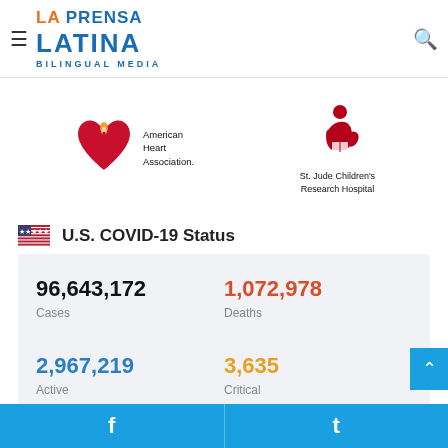[Figure (logo): La Prensa Latina Bilingual Media logo with hamburger menu and search icon]
[Figure (logo): American Heart Association logo]
[Figure (logo): St. Jude Children's Research Hospital logo]
U.S. COVID-19 Status
96,643,172 Cases | 1,072,978 Deaths | 2,967,219 Active | 3,635 Critical